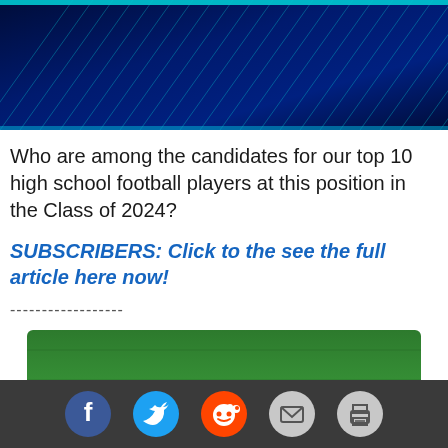[Figure (illustration): Dark navy blue banner header with diagonal line pattern texture in teal/cyan color]
Who are among the candidates for our top 10 high school football players at this position in the Class of 2024?
SUBSCRIBERS: Click to the see the full article here now!
------------------
[Figure (photo): A Nike Vapor Strike football resting on green grass field]
[Figure (infographic): Social sharing bar with Facebook, Twitter, Reddit, Email, and Print icon buttons]